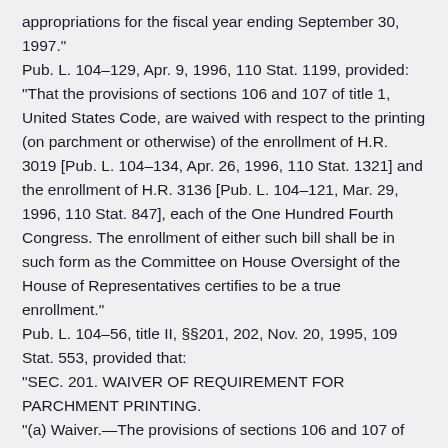appropriations for the fiscal year ending September 30, 1997."
Pub. L. 104–129, Apr. 9, 1996, 110 Stat. 1199, provided: "That the provisions of sections 106 and 107 of title 1, United States Code, are waived with respect to the printing (on parchment or otherwise) of the enrollment of H.R. 3019 [Pub. L. 104–134, Apr. 26, 1996, 110 Stat. 1321] and the enrollment of H.R. 3136 [Pub. L. 104–121, Mar. 29, 1996, 110 Stat. 847], each of the One Hundred Fourth Congress. The enrollment of either such bill shall be in such form as the Committee on House Oversight of the House of Representatives certifies to be a true enrollment."
Pub. L. 104–56, title II, §§201, 202, Nov. 20, 1995, 109 Stat. 553, provided that:
"SEC. 201. WAIVER OF REQUIREMENT FOR PARCHMENT PRINTING.
"(a) Waiver.—The provisions of sections 106 and 107 of title 1, United States Code, are waived with respect to